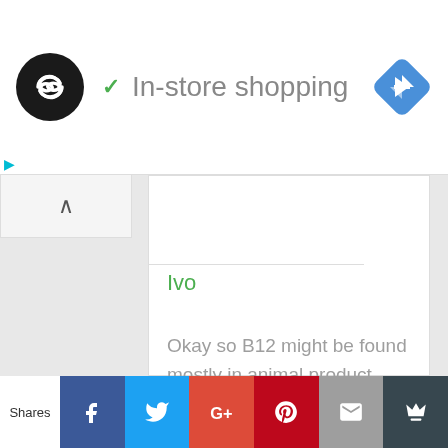[Figure (screenshot): App logo: black circle with white infinity/loop arrows symbol]
✓ In-store shopping
[Figure (logo): Blue diamond navigation/directions icon]
Ivo
Okay so B12 might be found mostly in animal product (check duckweed – a vegan source of natural b12 in nature) , years ago was found almost anyhwere, but now due to cleaning the water and many other processes the B12 is
Shares  f  t  G+  P  ✉  👑